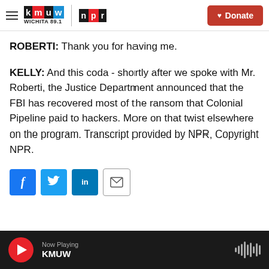KMUW WICHITA 89.1 | NPR | Donate
ROBERTI: Thank you for having me.
KELLY: And this coda - shortly after we spoke with Mr. Roberti, the Justice Department announced that the FBI has recovered most of the ransom that Colonial Pipeline paid to hackers. More on that twist elsewhere on the program. Transcript provided by NPR, Copyright NPR.
[Figure (other): Social sharing buttons: Facebook (f), Twitter bird icon, LinkedIn (in), Email envelope icon]
Now Playing KMUW